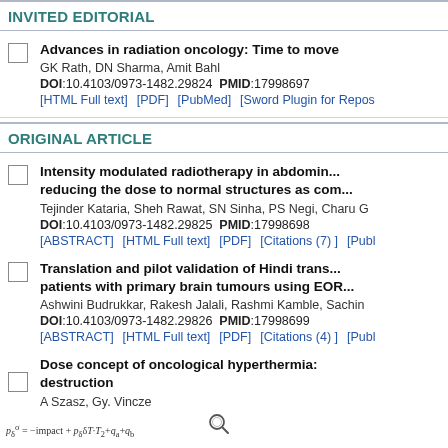INVITED EDITORIAL
Advances in radiation oncology: Time to move
GK Rath, DN Sharma, Amit Bahl
DOI:10.4103/0973-1482.29824  PMID:17998697
[HTML Full text]  [PDF]  [PubMed]  [Sword Plugin for Repos
ORIGINAL ARTICLE
Intensity modulated radiotherapy in abdomin... reducing the dose to normal structures as com...
Tejinder Kataria, Sheh Rawat, SN Sinha, PS Negi, Charu G
DOI:10.4103/0973-1482.29825  PMID:17998698
[ABSTRACT]  [HTML Full text]  [PDF]  [Citations (7)]  [Publ
Translation and pilot validation of Hindi trans... patients with primary brain tumours using EOR...
Ashwini Budrukkar, Rakesh Jalali, Rashmi Kamble, Sachin
DOI:10.4103/0973-1482.29826  PMID:17998699
[ABSTRACT]  [HTML Full text]  [PDF]  [Citations (4)]  [Publ
Dose concept of oncological hyperthermia: destruction
A Szasz, Gy. Vincze